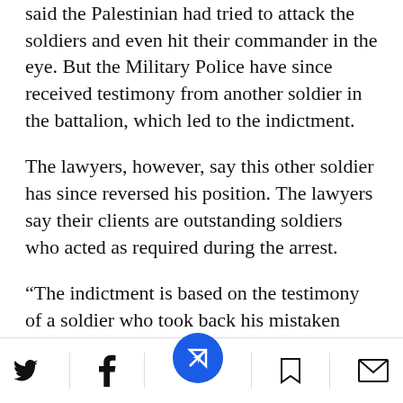said the Palestinian had tried to attack the soldiers and even hit their commander in the eye. But the Military Police have since received testimony from another soldier in the battalion, which led to the indictment.
The lawyers, however, say this other soldier has since reversed his position. The lawyers say their clients are outstanding soldiers who acted as required during the arrest.
“The indictment is based on the testimony of a soldier who took back his mistaken claims against the soldiers,” the lawyers said in a
Social share bar with Twitter, Facebook, navigation button, bookmark, and mail icons